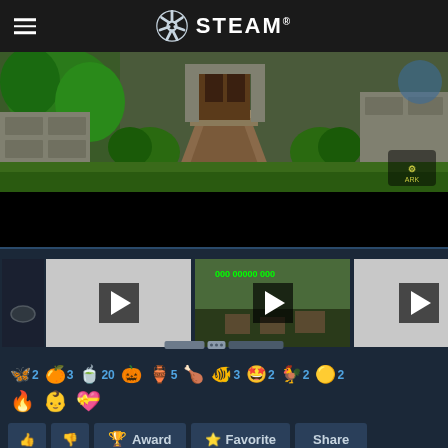STEAM
[Figure (screenshot): Steam mobile app showing a game screenshot (garden/base area in ARK: Survival Evolved) with a thumbnail strip below containing video thumbnails, reaction emojis, and action buttons (Award, Favorite, Share, Add to Collection)]
2  3  20  5  3  2  2  2
Award  Favorite  Share  Add to Collection